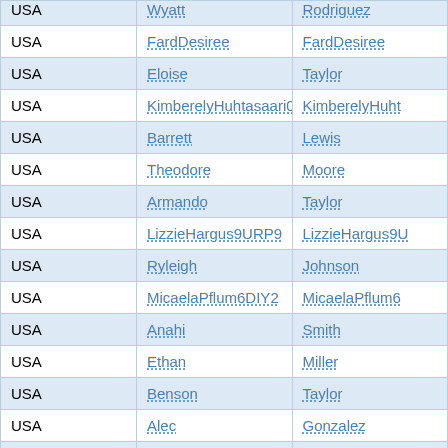| Country | First Name | Last Name |
| --- | --- | --- |
| USA | Wyatt | Rodriguez |
| USA | FardDesiree | FardDesiree |
| USA | Eloise | Taylor |
| USA | KimberelyHuhtasaari0XQD5 | KimberelyHuht... |
| USA | Barrett | Lewis |
| USA | Theodore | Moore |
| USA | Armando | Taylor |
| USA | LizzieHargus9URP9 | LizzieHargus9U... |
| USA | Ryleigh | Johnson |
| USA | MicaelaPflum6DIY2 | MicaelaPflum6... |
| USA | Anahi | Smith |
| USA | Ethan | Miller |
| USA | Benson | Taylor |
| USA | Alec | Gonzalez |
| USA | Skyler | Williams |
| USA | Royce | Martinez |
| USA | Clark | Harris |